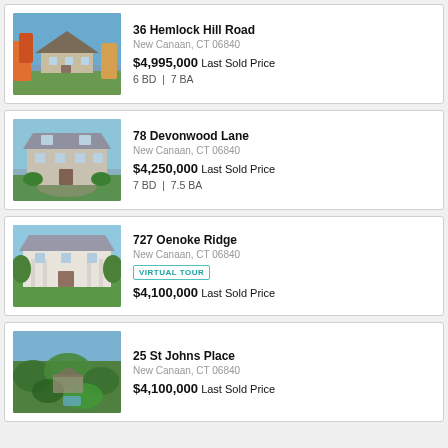36 Hemlock Hill Road, New Canaan, CT 06840, $4,995,000 Last Sold Price, 6 BD | 7 BA
78 Devonwood Lane, New Canaan, CT 06840, $4,250,000 Last Sold Price, 7 BD | 7.5 BA
727 Oenoke Ridge, New Canaan, CT 06840, VIRTUAL TOUR, $4,100,000 Last Sold Price
25 St Johns Place, New Canaan, CT 06840, $4,100,000 Last Sold Price